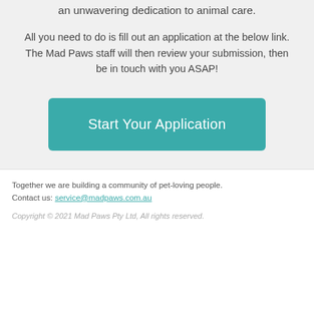an unwavering dedication to animal care.
All you need to do is fill out an application at the below link. The Mad Paws staff will then review your submission, then be in touch with you ASAP!
Start Your Application
Together we are building a community of pet-loving people.
Contact us: service@madpaws.com.au
Copyright © 2021 Mad Paws Pty Ltd, All rights reserved.